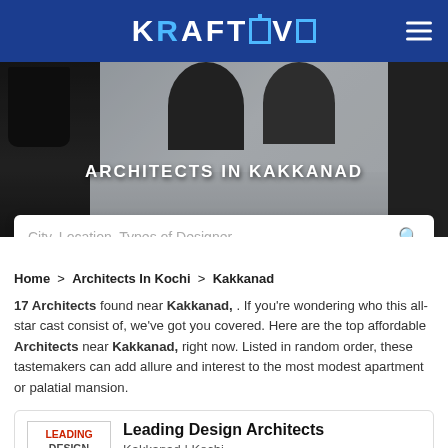KRAFTIVO
[Figure (photo): Interior design hero banner showing pendant lamps over a living room scene with the text ARCHITECTS IN KAKKANAD overlaid]
ARCHITECTS IN KAKKANAD
City, Location, Types of Designer
Home > Architects In Kochi > Kakkanad
17 Architects found near Kakkanad, . If you're wondering who this all-star cast consist of, we've got you covered. Here are the top affordable Architects near Kakkanad, right now. Listed in random order, these tastemakers can add allure and interest to the most modest apartment or palatial mansion.
Leading Design Architects
Kakkanad | Kochi